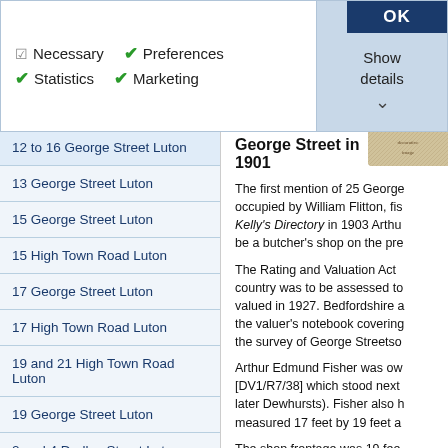[Figure (screenshot): Cookie consent banner with checkboxes for Necessary, Preferences, Statistics, Marketing, and a Show details button with dropdown arrow, plus an OK button in dark blue]
12 to 16 George Street Luton
13 George Street Luton
15 George Street Luton
15 High Town Road Luton
17 George Street Luton
17 High Town Road Luton
19 and 21 High Town Road Luton
19 George Street Luton
2 and 4 Dudley Street Luton
2 and 4 George Street Luton
20 and 22 High Town Road Luton
20 George Street Luton
George Street in 1901
The first mention of 25 George Street was occupied by William Flitton, fis... Kelly's Directory in 1903 Arthu... be a butcher's shop on the pre...
The Rating and Valuation Act ... country was to be assessed to... valued in 1927. Bedfordshire a... the valuer's notebook covering... the survey of George Streetto...
Arthur Edmund Fisher was ow... [DV1/R7/38] which stood next... later Dewhursts). Fisher also h... measured 17 feet by 19 feet a...
The shop frontage was 19 fee... Exchange. The shop measure... room measuring 20 feet by 12... scullery measuring 15 feet by...